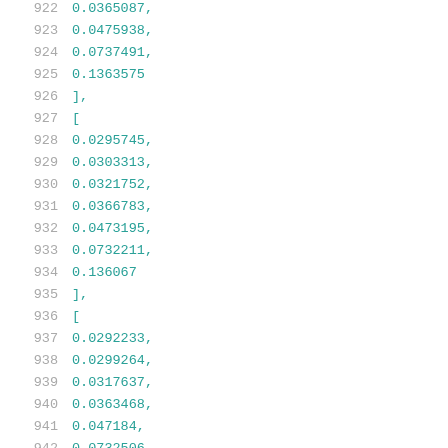922   0.0365087,
923   0.0475938,
924   0.0737491,
925   0.1363575
926   ],
927   [
928   0.0295745,
929   0.0303313,
930   0.0321752,
931   0.0366783,
932   0.0473195,
933   0.0732211,
934   0.136067
935   ],
936   [
937   0.0292233,
938   0.0299264,
939   0.0317637,
940   0.0363468,
941   0.047184,
942   0.0732506,
943   0.1362441